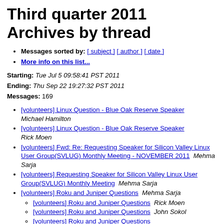Third quarter 2011 Archives by thread
Messages sorted by: [ subject ] [ author ] [ date ]
More info on this list...
Starting: Tue Jul 5 09:58:41 PST 2011
Ending: Thu Sep 22 19:27:32 PST 2011
Messages: 169
[volunteers] Linux Question - Blue Oak Reserve Speaker   Michael Hamilton
[volunteers] Linux Question - Blue Oak Reserve Speaker   Rick Moen
[volunteers] Fwd: Re: Requesting Speaker for Silicon Valley Linux User Group(SVLUG) Monthly Meeting - NOVEMBER 2011   Mehma Sarja
[volunteers] Requesting Speaker for Silicon Valley Linux User Group(SVLUG) Monthly Meeting   Mehma Sarja
[volunteers] Roku and Juniper Questions   Mehma Sarja
[volunteers] Roku and Juniper Questions   Rick Moen
[volunteers] Roku and Juniper Questions   John Sokol
[volunteers] Roku and Juniper Questions